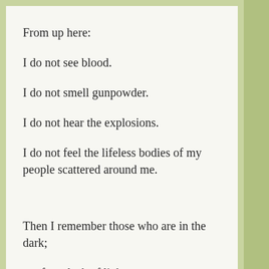From up here:
I do not see blood.
I do not smell gunpowder.
I do not hear the explosions.
I do not feel the lifeless bodies of my people scattered around me.
Then I remember those who are in the dark;
not from lack of light,